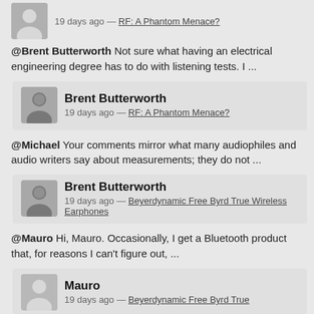19 days ago — RF: A Phantom Menace?
@Brent Butterworth Not sure what having an electrical engineering degree has to do with listening tests. I ...
Brent Butterworth
19 days ago — RF: A Phantom Menace?
@Michael Your comments mirror what many audiophiles and audio writers say about measurements; they do not ...
Brent Butterworth
19 days ago — Beyerdynamic Free Byrd True Wireless Earphones
@Mauro Hi, Mauro. Occasionally, I get a Bluetooth product that, for reasons I can't figure out, ...
Mauro
19 days ago — Beyerdynamic Free Byrd True